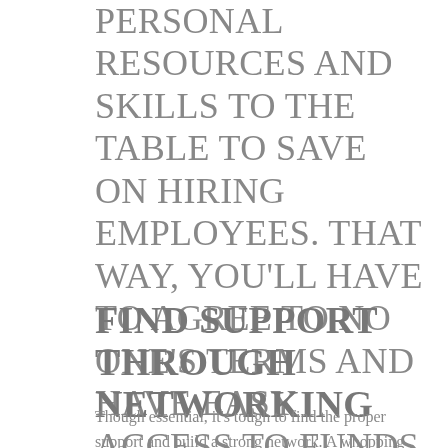PERSONAL RESOURCES AND SKILLS TO THE TABLE TO SAVE ON HIRING EMPLOYEES. THAT WAY, YOU'LL HAVE TO AGREE TO NO ONE'S TERMS AND HAVE EASY ACCESS TO FUNDS AND RESOURCES.
FIND SUPPORT THROUGH NETWORKING
Though essential, it's tough to find the proper support and build a strong network. A whopping